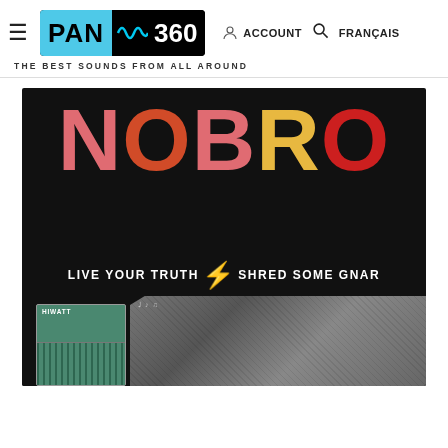≡  PAN 360  ACCOUNT  🔍  FRANÇAIS
THE BEST SOUNDS FROM ALL AROUND
[Figure (photo): NOBRO album artwork on black background: large colorful letters spelling NOBRO with tagline 'LIVE YOUR TRUTH ⚡ SHRED SOME GNAR' and band photo collage at bottom]